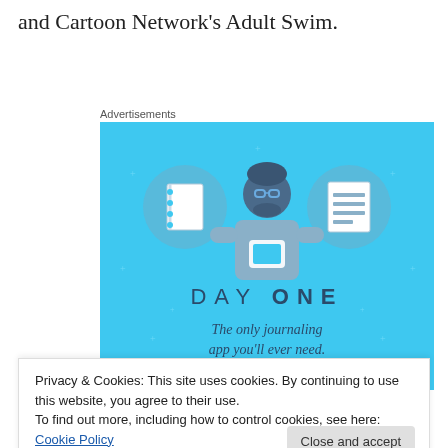and Cartoon Network's Adult Swim.
Advertisements
[Figure (illustration): Day One journaling app advertisement on a light blue background. Shows a cartoon person holding a phone, flanked by two circular icons depicting a notebook and a lined document. Text reads 'DAY ONE' and 'The only journaling app you'll ever need.']
Privacy & Cookies: This site uses cookies. By continuing to use this website, you agree to their use.
To find out more, including how to control cookies, see here: Cookie Policy
and The Jimmy Dore Show. Mike was also recently invited